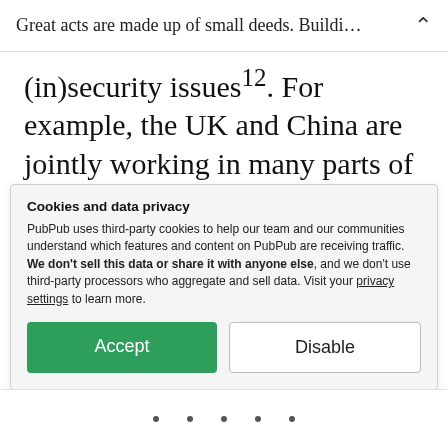Great acts are made up of small deeds. Buildi...
(in)security issues¹². For example, the UK and China are jointly working in many parts of fragile and conflict-impacted Sub Saharan Africa countries such as DR Congo with a history of Ebola virus (EBOV) and Marburg virus, well-known filoviruses which cause life-threatening viral haemorrhagic fever¹³
Cookies and data privacy
PubPub uses third-party cookies to help our team and our communities understand which features and content on PubPub are receiving traffic. We don't sell this data or share it with anyone else, and we don't use third-party processors who aggregate and sell data. Visit your privacy settings to learn more.